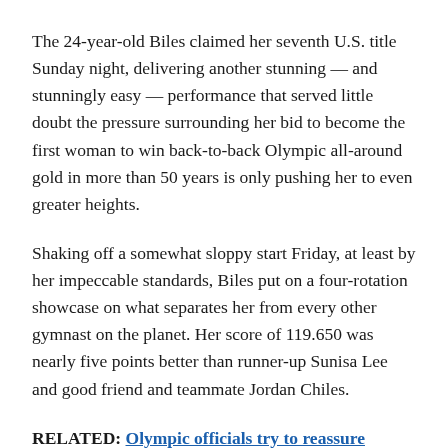The 24-year-old Biles claimed her seventh U.S. title Sunday night, delivering another stunning — and stunningly easy — performance that served little doubt the pressure surrounding her bid to become the first woman to win back-to-back Olympic all-around gold in more than 50 years is only pushing her to even greater heights.
Shaking off a somewhat sloppy start Friday, at least by her impeccable standards, Biles put on a four-rotation showcase on what separates her from every other gymnast on the planet. Her score of 119.650 was nearly five points better than runner-up Sunisa Lee and good friend and teammate Jordan Chiles.
RELATED: Olympic officials try to reassure athletes over coronavirus waiver